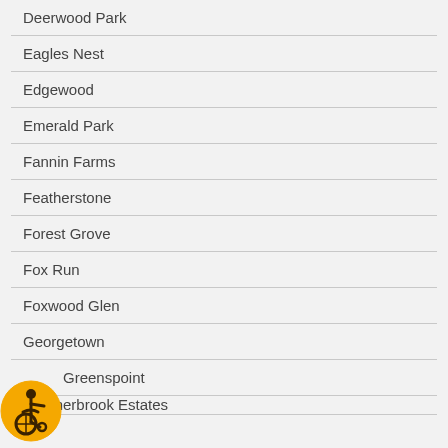Deerwood Park
Eagles Nest
Edgewood
Emerald Park
Fannin Farms
Featherstone
Forest Grove
Fox Run
Foxwood Glen
Georgetown
Greenspoint
Heatherbrook Estates